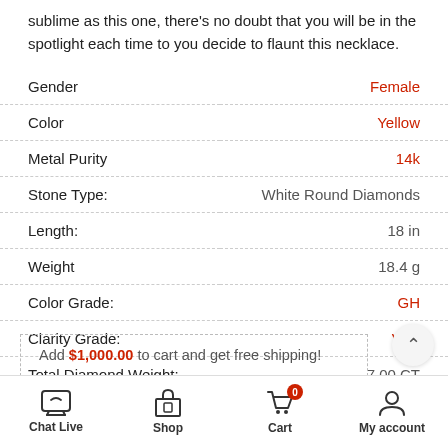sublime as this one, there's no doubt that you will be in the spotlight each time to you decide to flaunt this necklace.
| Attribute | Value |
| --- | --- |
| Gender | Female |
| Color | Yellow |
| Metal Purity | 14k |
| Stone Type: | White Round Diamonds |
| Length: | 18 in |
| Weight | 18.4 g |
| Color Grade: | GH |
| Clarity Grade: | VS2 |
| Total Diamond Weight: | 7.00 CT |
Add $1,000.00 to cart and get free shipping!
Chat Live  Shop  Cart (0)  My account